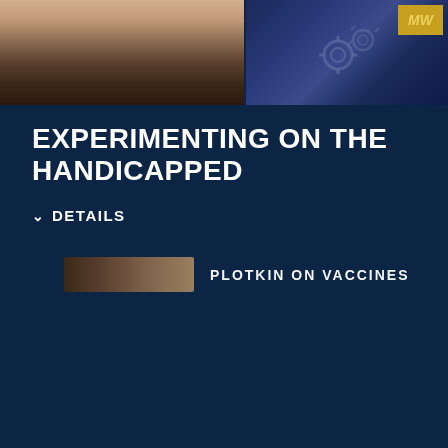[Figure (photo): Top portion shows a man in a dark jacket, white shirt, and red tie on the left side; on the right side is a dark blue background with gear/molecule imagery and a gold MW logo in the upper right corner.]
EXPERIMENTING ON THE HANDICAPPED
DETAILS
[Figure (photo): Partial preview thumbnail showing a person's head/hair on the left and partially visible text reading 'PLOTKIN ON VACCINES' on the right, against a dark blue background.]